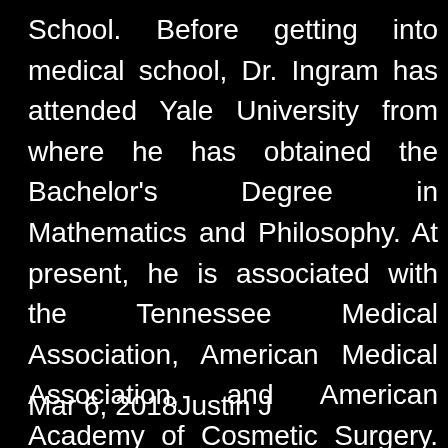School. Before getting into medical school, Dr. Ingram has attended Yale University from where he has obtained the Bachelor's Degree in Mathematics and Philosophy. At present, he is associated with the Tennessee Medical Association, American Medical Association, and American Academy of Cosmetic Surgery. He has also published articles in peer-reviewed periodicals in regards to finance, medical devices, human anatomy, law, and surgical techniques.
Mar 6, 2018Justin J